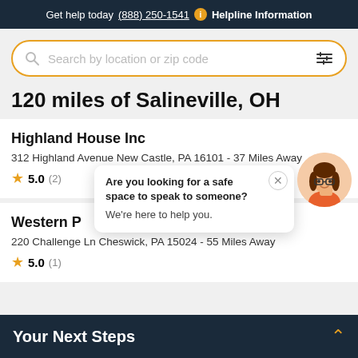Get help today (888) 250-1541  Helpline Information
Search by location or zip code
120 miles of Salineville, OH
Highland House Inc
312 Highland Avenue New Castle, PA 16101 - 37 Miles Away
★ 5.0 (2)
Are you looking for a safe space to speak to someone?
We're here to help you.
Western P…
220 Challenge Ln Cheswick, PA 15024 - 55 Miles Away
★ 5.0 (1)
Your Next Steps